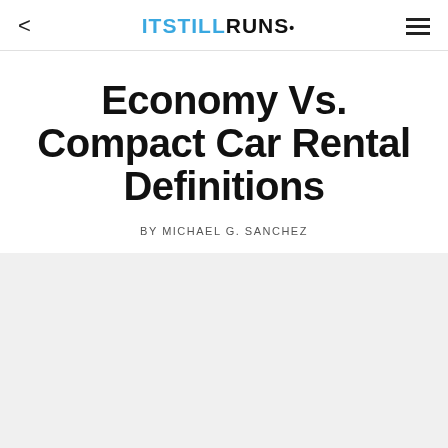ITSTILLRUNS.
Economy Vs. Compact Car Rental Definitions
BY MICHAEL G. SANCHEZ
[Figure (photo): Light gray rectangular image placeholder below the byline]